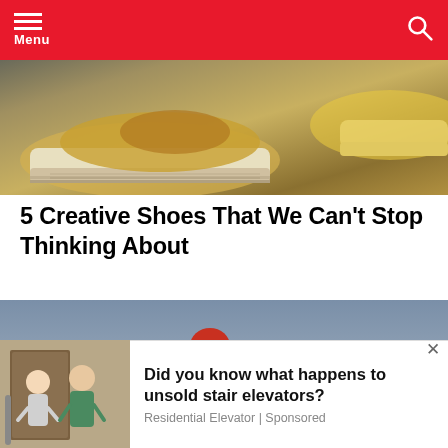Menu
[Figure (photo): Close-up photo of decorative sneakers/shoes with golden and painted artwork design, viewed from the side and toe area against a blurred background.]
5 Creative Shoes That We Can't Stop Thinking About
[Figure (photo): Motocross rider wearing red gear and helmet numbered 14/44 on a yellow dirt bike, mid-air or on a hillside with rocky terrain in the background.]
[Figure (photo): Advertisement thumbnail showing two women, one elderly and one younger, near a stairlift at a doorway.]
Did you know what happens to unsold stair elevators? Residential Elevator | Sponsored